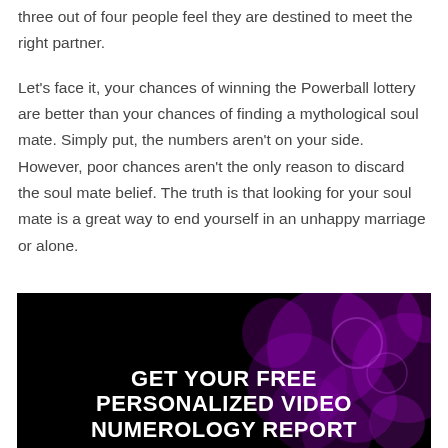three out of four people feel they are destined to meet the right partner.
Let's face it, your chances of winning the Powerball lottery are better than your chances of finding a mythological soul mate. Simply put, the numbers aren't on your side. However, poor chances aren't the only reason to discard the soul mate belief. The truth is that looking for your soul mate is a great way to end yourself in an unhappy marriage or alone.
[Figure (infographic): Dark banner with purple glowing orb/bokeh background. Bold white text reads: GET YOUR FREE PERSONALIZED VIDEO NUMEROLOGY REPORT]